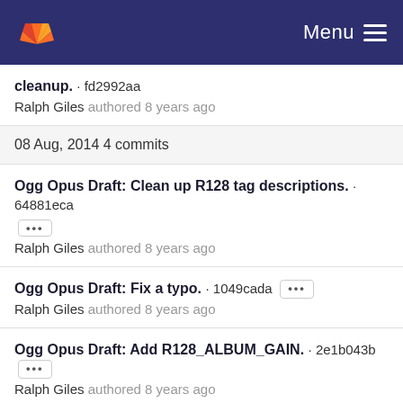Menu
cleanup. · fd2992aa
Ralph Giles authored 8 years ago
08 Aug, 2014 4 commits
Ogg Opus Draft: Clean up R128 tag descriptions. · 64881eca
Ralph Giles authored 8 years ago
Ogg Opus Draft: Fix a typo. · 1049cada
Ralph Giles authored 8 years ago
Ogg Opus Draft: Add R128_ALBUM_GAIN. · 2e1b043b
Ralph Giles authored 8 years ago
Ogg Opus Draft: apply some clarifications from derf. · bb68e117
Ralph Giles authored 8 years ago
30 Jul, 2014 1 commit